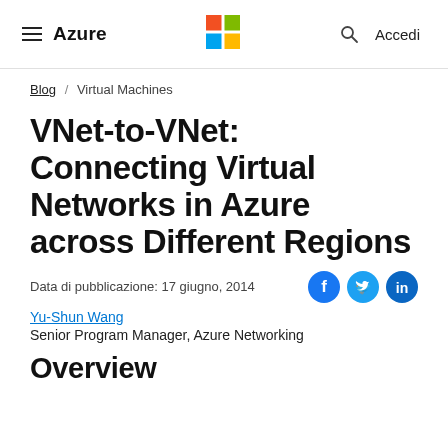Azure | Microsoft Logo | Search | Accedi
Blog / Virtual Machines
VNet-to-VNet: Connecting Virtual Networks in Azure across Different Regions
Data di pubblicazione: 17 giugno, 2014
Yu-Shun Wang
Senior Program Manager, Azure Networking
Overview